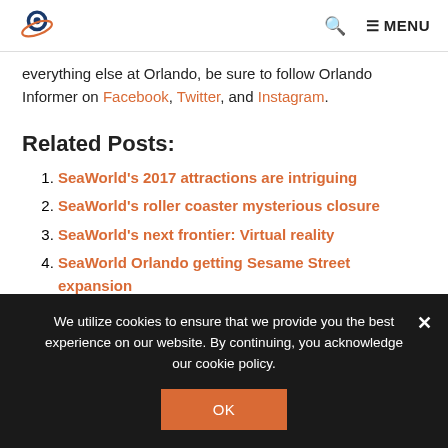Orlando Informer logo | Search | MENU
everything else at Orlando, be sure to follow Orlando Informer on Facebook, Twitter, and Instagram.
Related Posts:
SeaWorld's 2017 attractions are intriguing
SeaWorld's roller coaster mysterious closure
SeaWorld's next frontier: Virtual reality
SeaWorld Orlando getting Sesame Street expansion
We utilize cookies to ensure that we provide you the best experience on our website. By continuing, you acknowledge our cookie policy.